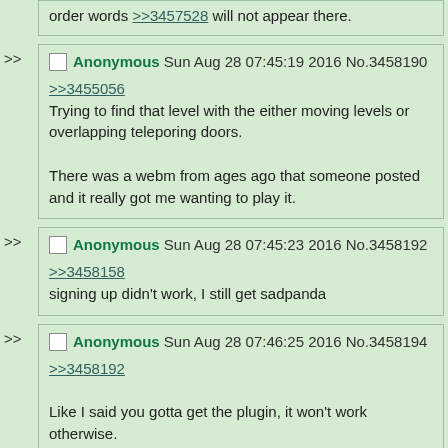order words >>3457528 will not appear there.
Anonymous Sun Aug 28 07:45:19 2016 No.3458190
>>3455056
Trying to find that level with the either moving levels or overlapping teleporing doors.

There was a webm from ages ago that someone posted and it really got me wanting to play it.
Anonymous Sun Aug 28 07:45:23 2016 No.3458192
>>3458158
signing up didn't work, I still get sadpanda
Anonymous Sun Aug 28 07:46:25 2016 No.3458194
>>3458192

Like I said you gotta get the plugin, it won't work otherwise.
Anonymous Sun Aug 28 07:47:51 2016 No.3458195
File: 123 KB, 1024x576, 741282_839132_20060710_003...